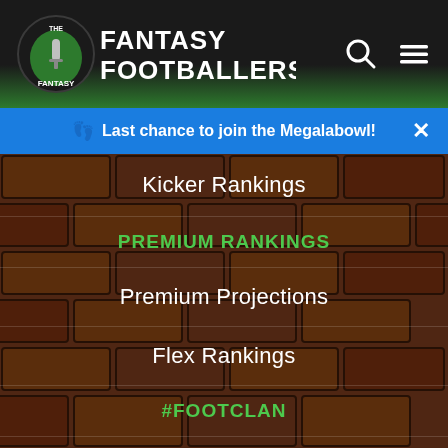The Fantasy Footballers
Last chance to join the Megalabowl!
Kicker Rankings
PREMIUM RANKINGS
Premium Projections
Flex Rankings
#FOOTCLAN
Forums
Discord
Premium Projections
Flex Rankings